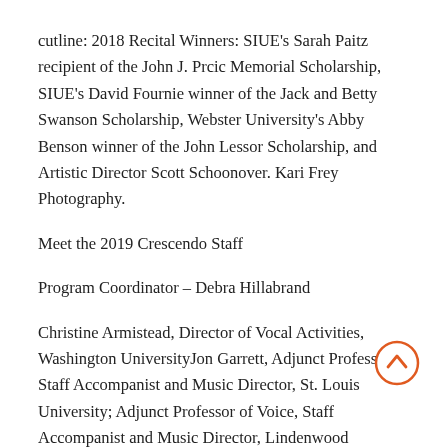cutline: 2018 Recital Winners: SIUE's Sarah Paitz recipient of the John J. Prcic Memorial Scholarship, SIUE's David Fournie winner of the Jack and Betty Swanson Scholarship, Webster University's Abby Benson winner of the John Lessor Scholarship, and Artistic Director Scott Schoonover. Kari Frey Photography.
Meet the 2019 Crescendo Staff
Program Coordinator – Debra Hillabrand
Christine Armistead, Director of Vocal Activities, Washington UniversityJon Garrett, Adjunct Professor, Staff Accompanist and Music Director, St. Louis University; Adjunct Professor of Voice, Staff Accompanist and Music Director, Lindenwood
[Figure (other): Orange circle with upward-pointing chevron arrow, scroll-to-top button overlay in bottom-right area]